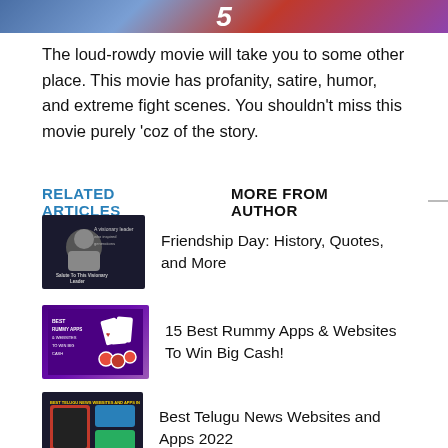[Figure (photo): Top portion of a movie/entertainment image with a large number visible, cropped at top of page]
The loud-rowdy movie will take you to some other place. This movie has profanity, satire, humor, and extreme fight scenes. You shouldn't miss this movie purely 'coz of the story.
RELATED ARTICLES   MORE FROM AUTHOR
[Figure (photo): Friendship Day article thumbnail — dark background with an elderly man's portrait and inspirational quote text]
Friendship Day: History, Quotes, and More
[Figure (photo): 15 Best Rummy Apps thumbnail — purple background with playing cards and casino chips]
15 Best Rummy Apps & Websites To Win Big Cash!
[Figure (photo): Best Telugu News Websites thumbnail — dark background with app/phone screen collage]
Best Telugu News Websites and Apps 2022